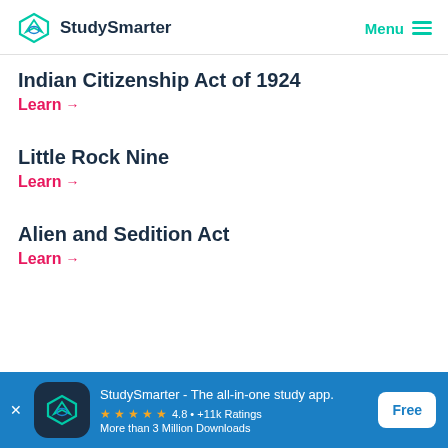StudySmarter | Menu
Indian Citizenship Act of 1924
Learn →
Little Rock Nine
Learn →
Alien and Sedition Act
Learn →
StudySmarter - The all-in-one study app. ★★★★★ 4.8 • +11k Ratings More than 3 Million Downloads Free